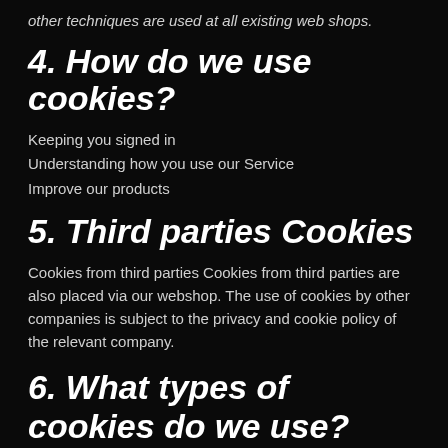other techniques are used at all existing web shops.
4. How do we use cookies?
Keeping you signed in
Understanding how you use our Service
Improve our products
5. Third parties Cookies
Cookies from third parties Cookies from third parties are also placed via our webshop. The use of cookies by other companies is subject to the privacy and cookie policy of the relevant company.
6. What types of cookies do we use?